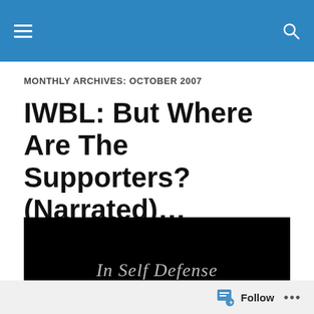MONTHLY ARCHIVES: OCTOBER 2007
IWBL: But Where Are The Supporters? (Narrated)…
[Figure (screenshot): Black background image with text 'In Self Defense' and subtitle '...The life and times of an atheist boylover.']
Follow